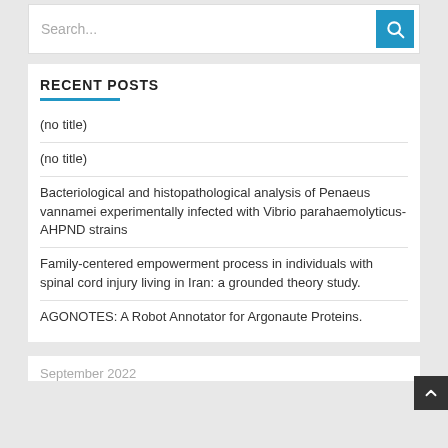[Figure (other): Search bar with text input showing 'Search...' placeholder and a blue search button with magnifying glass icon]
RECENT POSTS
(no title)
(no title)
Bacteriological and histopathological analysis of Penaeus vannamei experimentally infected with Vibrio parahaemolyticus-AHPND strains
Family-centered empowerment process in individuals with spinal cord injury living in Iran: a grounded theory study.
AGONOTES: A Robot Annotator for Argonaute Proteins.
September 2022